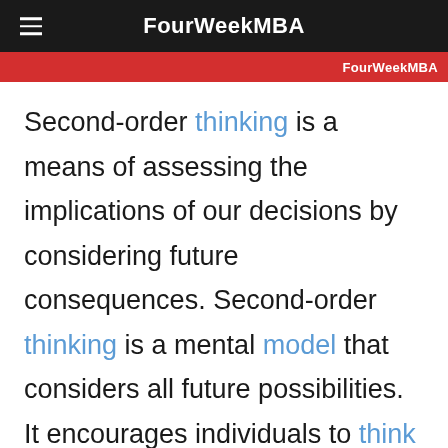FourWeekMBA
FourWeekMBA
Second-order thinking is a means of assessing the implications of our decisions by considering future consequences. Second-order thinking is a mental model that considers all future possibilities. It encourages individuals to think outside of the box so that they can